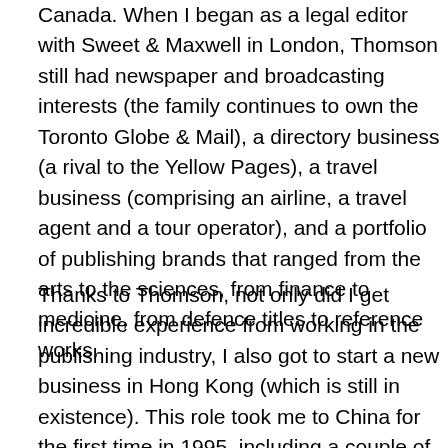Canada. When I began as a legal editor with Sweet & Maxwell in London, Thomson still had newspaper and broadcasting interests (the family continues to own the Toronto Globe & Mail), a directory business (a rival to the Yellow Pages), a travel business (comprising an airline, a travel agent and a tour operator), and a portfolio of publishing brands that ranged from the arts to the sciences, from finance to medicine, from defence titles to reference works.
Thanks to Thomson, not only did I get incredible experience from working in the publishing industry, I also got to start a new business in Hong Kong (which is still in existence). This role took me to China for the first time in 1995, including a couple of private lunches at The Great Hall of The People in Beijing. The Hong Kong business expanded to include operations in Singapore and Malaysia